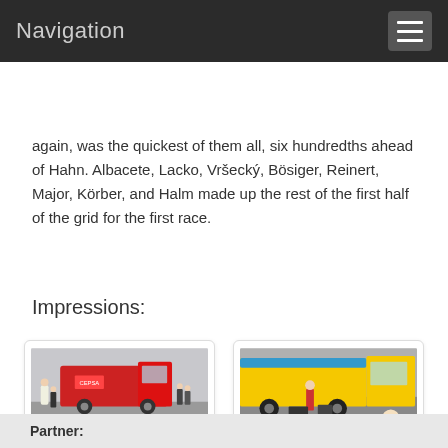Navigation
again, was the quickest of them all, six hundredths ahead of Hahn. Albacete, Lacko, Vršecký, Bösiger, Reinert, Major, Körber, and Halm made up the rest of the first half of the grid for the first race.
Impressions:
[Figure (photo): Red racing truck in pit lane area with crowds of people around it]
[Figure (photo): Yellow racing truck in pit area with mechanics and camera crew]
Partner: